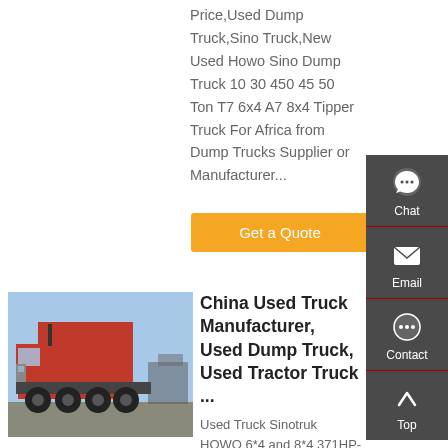Price,Used Dump Truck,Sino Truck,New Used Howo Sino Dump Truck 10 30 450 45 50 Ton T7 6x4 A7 8x4 Tipper Truck For Africa from Dump Trucks Supplier or Manufacturer...
Get a Quote
[Figure (photo): Red Sinotruk HOWO dump truck parked outdoors]
China Used Truck Manufacturer, Used Dump Truck, Used Tractor Truck ...
Used Truck Sinotruk HOWO 6*4 and 8*4 371HP-375HP Tractor